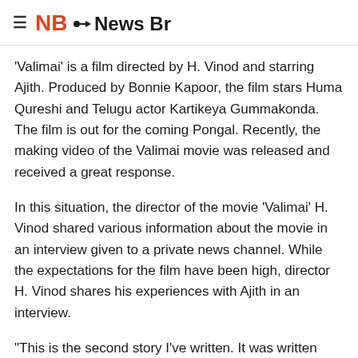≡ NB•News Bricks
'Valimai' is a film directed by H. Vinod and starring Ajith. Produced by Bonnie Kapoor, the film stars Huma Qureshi and Telugu actor Kartikeya Gummakonda. The film is out for the coming Pongal. Recently, the making video of the Valimai movie was released and received a great response.
In this situation, the director of the movie 'Valimai' H. Vinod shared various information about the movie in an interview given to a private news channel. While the expectations for the film have been high, director H. Vinod shares his experiences with Ajith in an interview.
"This is the second story I've written. It was written